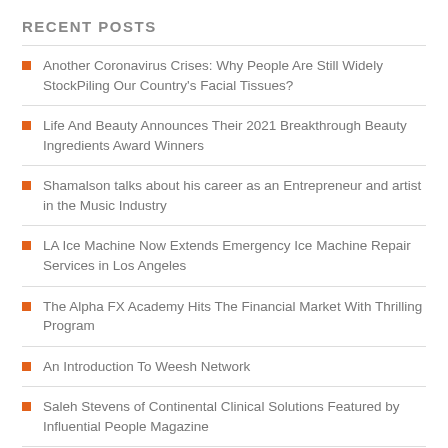RECENT POSTS
Another Coronavirus Crises: Why People Are Still Widely StockPiling Our Country's Facial Tissues?
Life And Beauty Announces Their 2021 Breakthrough Beauty Ingredients Award Winners
Shamalson talks about his career as an Entrepreneur and artist in the Music Industry
LA Ice Machine Now Extends Emergency Ice Machine Repair Services in Los Angeles
The Alpha FX Academy Hits The Financial Market With Thrilling Program
An Introduction To Weesh Network
Saleh Stevens of Continental Clinical Solutions Featured by Influential People Magazine
Humble Roots Launches New Line of Products Focused on Getting Back to the Roots...
Doxxed Santa is Bringing Gifts to the Crypto Community this Holiday